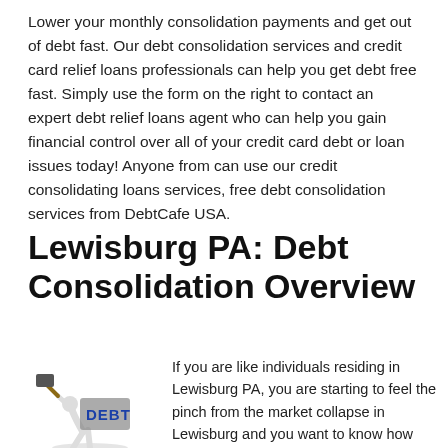Lower your monthly consolidation payments and get out of debt fast. Our debt consolidation services and credit card relief loans professionals can help you get debt free fast. Simply use the form on the right to contact an expert debt relief loans agent who can help you gain financial control over all of your credit card debt or loan issues today! Anyone from can use our credit consolidating loans services, free debt consolidation services from DebtCafe USA.
Lewisburg PA: Debt Consolidation Overview
[Figure (illustration): Cartoon illustration of a small white figure bent over carrying a large weight labeled DEBT in bold blue letters, with a hammer or mallet visible.]
If you are like individuals residing in Lewisburg PA, you are starting to feel the pinch from the market collapse in Lewisburg and you want to know how you can save on interest charges with debt consolidation in Lewisburg and get out of debt in Lewisburg and how to alleviate the financial